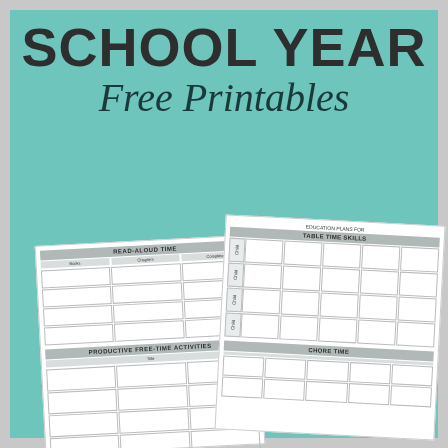SCHOOL YEAR Free Printables
[Figure (illustration): Two overlapping white printable planning sheets on teal background. Left sheet shows sections: READ-ALOUD TIME, PRODUCTIVE FREE-TIME ACTIVITIES with grid cells. Right sheet shows: EDUCATION PLANS FOR, TABLE TIME SKILLS with child row labels and grid, and CHORE TIME section.]